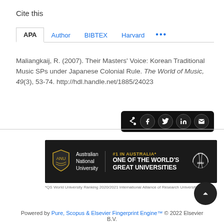Cite this
APA | Author | BIBTEX | Harvard | ...
Maliangkaij, R. (2007). Their Masters' Voice: Korean Traditional Music SPs under Japanese Colonial Rule. The World of Music, 49(3), 53-74. http://hdl.handle.net/1885/24023
[Figure (screenshot): Social sharing icons bar (share, Facebook, Twitter, LinkedIn, email) on black background]
[Figure (logo): Australian National University banner: #1 IN AUSTRALIA* ONE OF THE WORLD'S GREAT UNIVERSITIES, with IARU logo. *QS World University Ranking 2020/2021 International Alliance of Research Universities (IARU)]
Powered by Pure, Scopus & Elsevier Fingerprint Engine™ © 2022 Elsevier B.V.